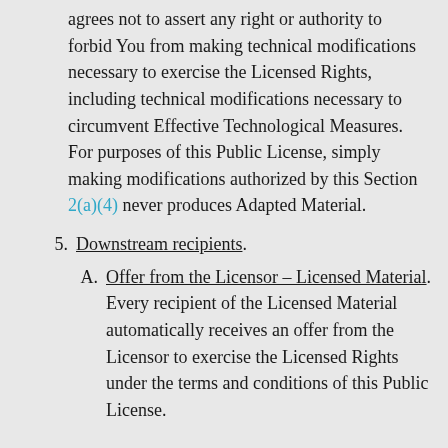agrees not to assert any right or authority to forbid You from making technical modifications necessary to exercise the Licensed Rights, including technical modifications necessary to circumvent Effective Technological Measures. For purposes of this Public License, simply making modifications authorized by this Section 2(a)(4) never produces Adapted Material.
5. Downstream recipients.
A. Offer from the Licensor – Licensed Material. Every recipient of the Licensed Material automatically receives an offer from the Licensor to exercise the Licensed Rights under the terms and conditions of this Public License.